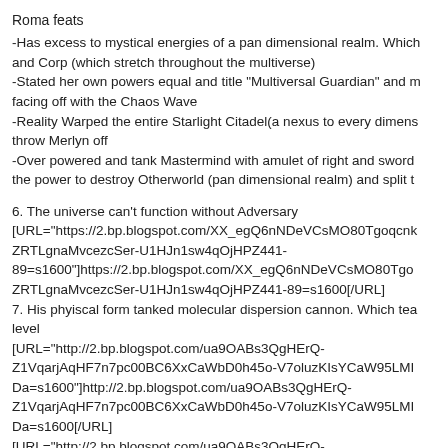Roma feats
-Has excess to mystical energies of a pan dimensional realm. Which and Corp (which stretch throughout the multiverse)
-Stated her own powers equal and title "Multiversal Guardian" and m facing off with the Chaos Wave
-Reality Warped the entire Starlight Citadel(a nexus to every dimens throw Merlyn off
-Over powered and tank Mastermind with amulet of right and sword the power to destroy Otherworld (pan dimensional realm) and split t
6. The universe can't function without Adversary
[URL="https://2.bp.blogspot.com/XX_egQ6nNDeVCsMO80TgoqcnkZRTLgnaMvcezcSer-U1HJn1sw4qOjHPZ441-89=s1600"]https://2.bp.blogspot.com/XX_egQ6nNDeVCsMO80TgoZRTLgnaMvcezcSer-U1HJn1sw4qOjHPZ441-89=s1600[/URL]
7. His phyiscal form tanked molecular dispersion cannon. Which tea level
[URL="http://2.bp.blogspot.com/ua9OABs3QgHErQ-Z1VqarjAqHF7n7pc00BC6XxCaWbD0h45o-V7oluzKIsYCaW95LMIDa=s1600"]http://2.bp.blogspot.com/ua9OABs3QgHErQ-Z1VqarjAqHF7n7pc00BC6XxCaWbD0h45o-V7oluzKIsYCaW95LMIDa=s1600[/URL]
[URL="http://2.bp.blogspot.com/ua9OABs3QgHErQ-Z1VqarjAqHF7n7pc00BC6XxCaWbD0h45o-V7oluzKIsYCaW95LMIDa=s1600"]http://2.bp.blogspot.com/ua9OABs3QgHErQ-Z1VqarjAqHF7n7pc00BC6XxCaWbD0h45o-V7oluzKIsYCaW95LMIDa=s1600[/URL]